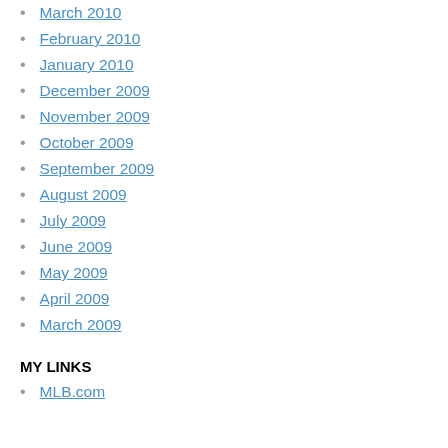March 2010
February 2010
January 2010
December 2009
November 2009
October 2009
September 2009
August 2009
July 2009
June 2009
May 2009
April 2009
March 2009
MY LINKS
MLB.com